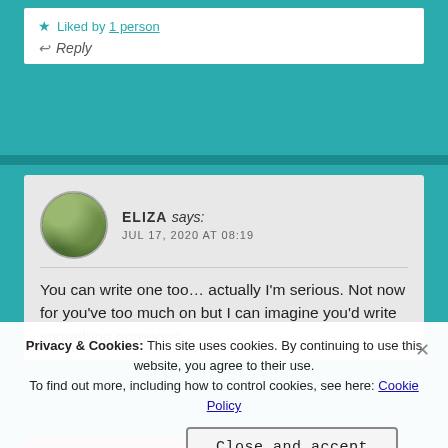Liked by 1 person
Reply
ELIZA says: JUL 17, 2020 AT 08:19
You can write one too... actually I'm serious. Not now for you've too much on but I can imagine you'd write something gorgeous.
Privacy & Cookies: This site uses cookies. By continuing to use this website, you agree to their use. To find out more, including how to control cookies, see here: Cookie Policy
Close and accept